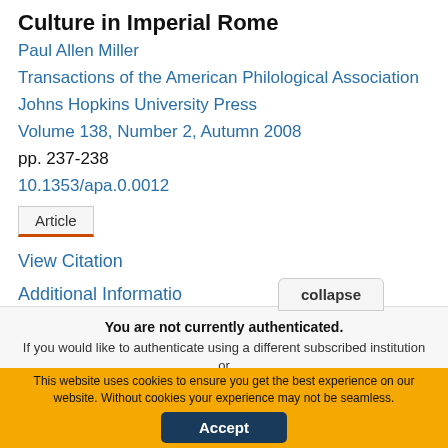Culture in Imperial Rome
Paul Allen Miller
Transactions of the American Philological Association
Johns Hopkins University Press
Volume 138, Number 2, Autumn 2008
pp. 237-238
10.1353/apa.0.0012
Article
View Citation
Additional Information
collapse
You are not currently authenticated.
If you would like to authenticate using a different subscribed institution or
This website uses cookies to ensure you get the best experience on our website. Without cookies your experience may not be seamless.
Accept